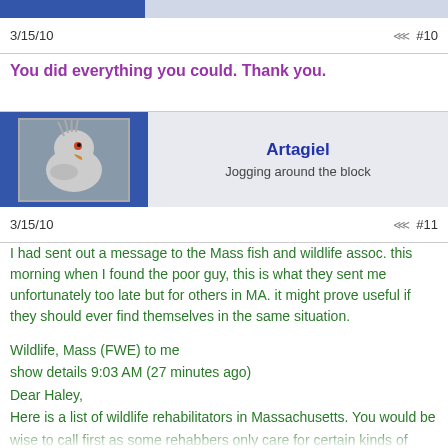3/15/10  #10
You did everything you could. Thank you.
Artagiel
Jogging around the block
3/15/10  #11
I had sent out a message to the Mass fish and wildlife assoc. this morning when I found the poor guy, this is what they sent me unfortunately too late but for others in MA. it might prove useful if they should ever find themselves in the same situation.
Wildlife, Mass (FWE) to me
show details 9:03 AM (27 minutes ago)
Dear Haley,
Here is a list of wildlife rehabilitators in Massachusetts. You would be wise to call first as some rehabbers only care for certain kinds of critters.